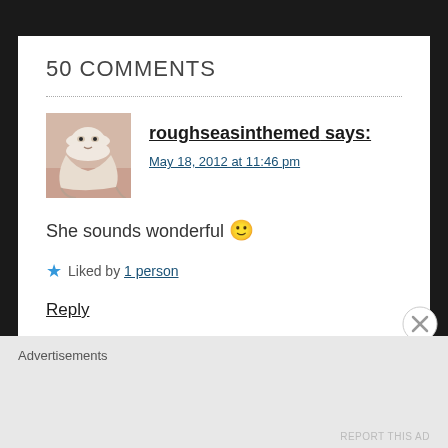50 COMMENTS
roughseasinthemed says:
May 18, 2012 at 11:46 pm
She sounds wonderful 🙂
★ Liked by 1 person
Reply
Advertisements